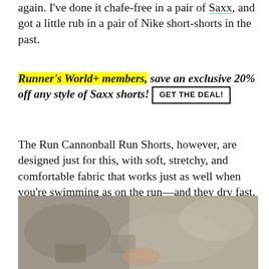again. I've done it chafe-free in a pair of Saxx, and got a little rub in a pair of Nike short-shorts in the past.
Runner's World+ members, save an exclusive 20% off any style of Saxx shorts! GET THE DEAL!
The Run Cannonball Run Shorts, however, are designed just for this, with soft, stretchy, and comfortable fabric that works just as well when you're swimming as on the run—and they dry fast.
[Figure (photo): Outdoor rocky terrain photo, muted grey-brown tones, partially visible]